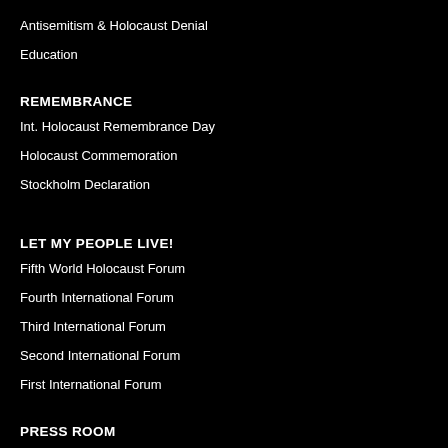Antisemitism & Holocaust Denial
Education
REMEMBRANCE
Int. Holocaust Remembrance Day
Holocaust Commemoration
Stockholm Declaration
LET MY PEOPLE LIVE!
Fifth World Holocaust Forum
Fourth International Forum
Third International Forum
Second International Forum
First International Forum
PRESS ROOM